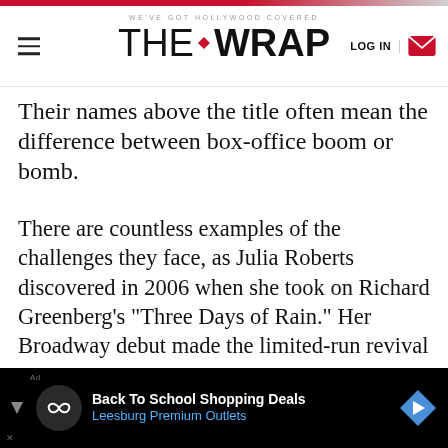WE'VE GOT HOLLYWOOD COVERED — THE WRAP | LOG IN
Their names above the title often mean the difference between box-office boom or bomb.
There are countless examples of the challenges they face, as Julia Roberts discovered in 2006 when she took on Richard Greenberg's "Three Days of Rain." Her Broadway debut made the limited-run revival the hottest ticket in town, but the critics were brutal. Ben Brantley of the New York Times, an admitted "Juliaholic," wrote, "Your heart goes out to her when she makes her entrance in the first act and freezes with the unyielding stiffness of an industrial
[Figure (other): Advertisement banner: Back To School Shopping Deals — Leesburg Premium Outlets]